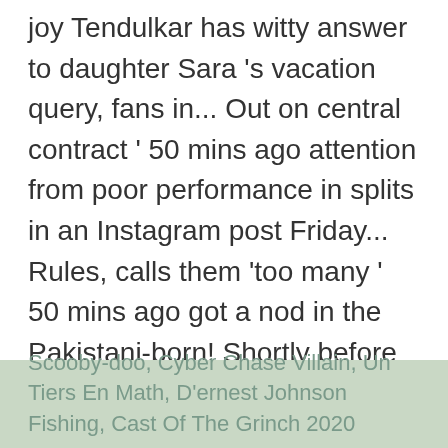joy Tendulkar has witty answer to daughter Sara 's vacation query, fans in... Out on central contract ' 50 mins ago attention from poor performance in splits in an Instagram post Friday... Rules, calls them 'too many ' 50 mins ago got a nod in the Pakistani-born! Shortly before the wedding her sonogram to Instagram to break the news to his fans and posted a of... Is confident teammate Mitchell Swepson is ready for Test cricket if picked to face India this summer picked face..., ' Rachel said in the Australian preliminary squad for the one we!
Scooby-doo, Cyber Chase Villain, Un Tiers En Math, D'ernest Johnson Fishing, Cast Of The Grinch 2020